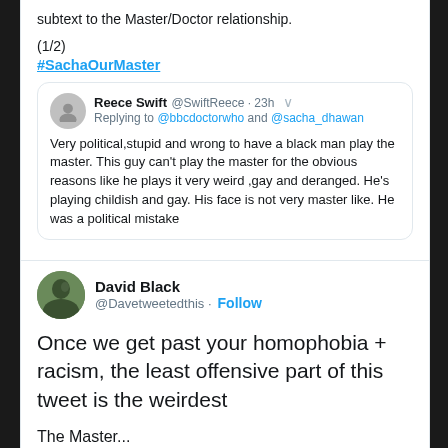subtext to the Master/Doctor relationship.
(1/2)
#SachaOurMaster
[Figure (screenshot): Quoted tweet from Reece Swift @SwiftReece 23h, replying to @bbcdoctorwho and @sacha_dhawan: Very political,stupid and wrong to have a black man play the master. This guy can't play the master for the obvious reasons like he plays it very weird ,gay and deranged. He's playing childish and gay. His face is not very master like. He was a political mistake]
David Black @Davetweetedthis · Follow
Once we get past your homophobia + racism, the least offensive part of this tweet is the weirdest
The Master...